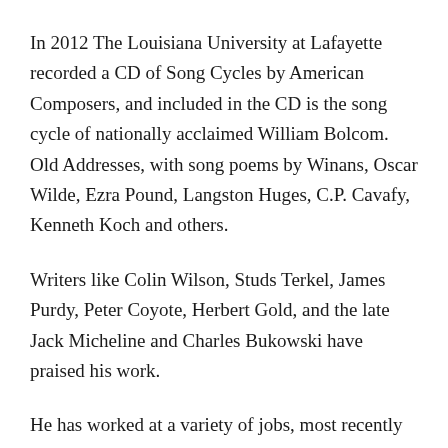In 2012 The Louisiana University at Lafayette recorded a CD of Song Cycles by American Composers, and included in the CD is the song cycle of nationally acclaimed William Bolcom. Old Addresses, with song poems by Winans, Oscar Wilde, Ezra Pound, Langston Huges, C.P. Cavafy, Kenneth Koch and others.
Writers like Colin Wilson, Studs Terkel, James Purdy, Peter Coyote, Herbert Gold, and the late Jack Micheline and Charles Bukowski have praised his work.
He has worked at a variety of jobs, most recently with the U.S. Dept. of Education as an Equal Opportunity Specialist, investigating claims of discrimination